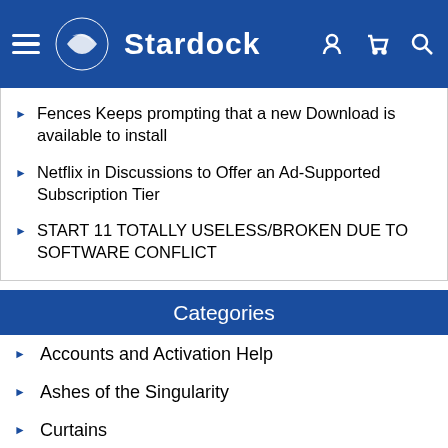Stardock
Fences Keeps prompting that a new Download is available to install
Netflix in Discussions to Offer an Ad-Supported Subscription Tier
START 11 TOTALLY USELESS/BROKEN DUE TO SOFTWARE CONFLICT
Categories
Accounts and Activation Help
Ashes of the Singularity
Curtains
DeskScapes
Fallen Enchantress
Fences
Forum Issues
Galactic Civilizations Series
Groupy